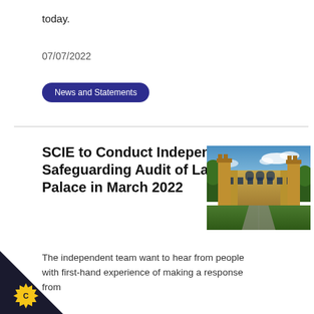today.
07/07/2022
News and Statements
SCIE to Conduct Independent Safeguarding Audit of Lambeth Palace in March 2022
[Figure (photo): Photograph of Lambeth Palace, a large historic stone Gothic-style building with green lawns and a driveway, under a blue sky with clouds.]
The independent team want to hear from people with first-hand experience of making a response from